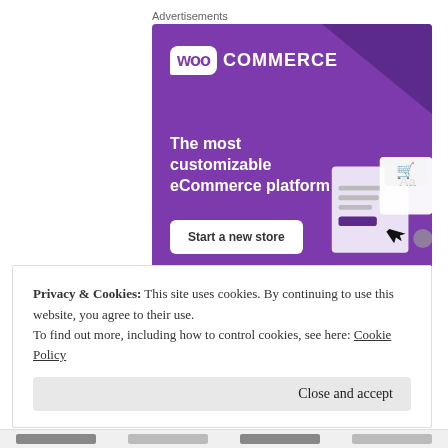Advertisements
[Figure (illustration): WooCommerce advertisement banner with purple background. Shows WooCommerce logo at top left, tagline 'The most customizable eCommerce platform', a 'Start a new store' call-to-action button, and mock UI elements on the right side. Bottom right shows 'REPORT THIS AD' text.]
Privacy & Cookies: This site uses cookies. By continuing to use this website, you agree to their use.
To find out more, including how to control cookies, see here: Cookie Policy
Close and accept